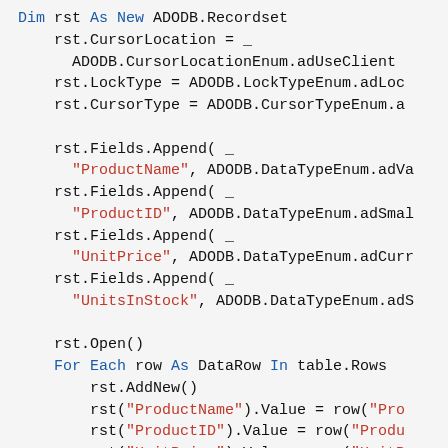[Figure (screenshot): Code snippet in VB.NET showing ADO recordset manipulation with cursor, lock, cursor type settings, field appends for ProductName, ProductID, UnitPrice, UnitsInStock, then opening recordset and looping through DataRow table rows to add and update values.]